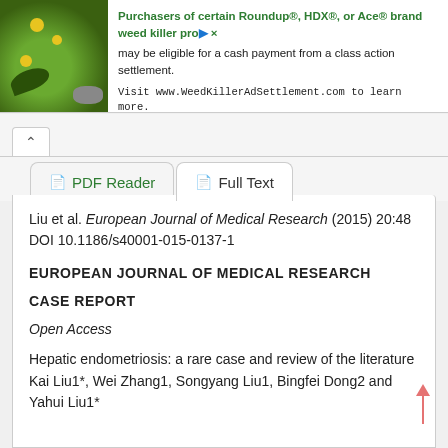[Figure (screenshot): Advertisement banner with green plant/flower image on left and text promoting Roundup/HDX/Ace weed killer class action settlement at WeedKillerAdSettlement.com]
Liu et al. European Journal of Medical Research (2015) 20:48 DOI 10.1186/s40001-015-0137-1
EUROPEAN JOURNAL OF MEDICAL RESEARCH
CASE REPORT
Open Access
Hepatic endometriosis: a rare case and review of the literature Kai Liu1*, Wei Zhang1, Songyang Liu1, Bingfei Dong2 and Yahui Liu1*